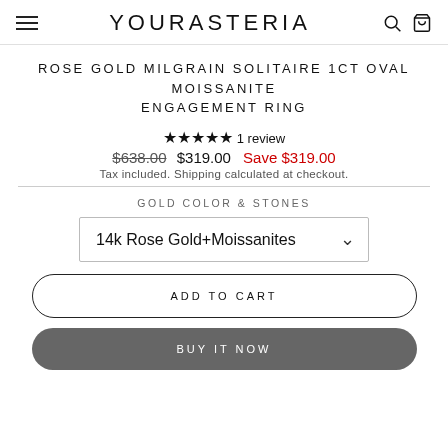YOURASTERIA
ROSE GOLD MILGRAIN SOLITAIRE 1CT OVAL MOISSANITE ENGAGEMENT RING
★★★★★ 1 review
$638.00 $319.00 Save $319.00
Tax included. Shipping calculated at checkout.
GOLD COLOR & STONES
14k Rose Gold+Moissanites
ADD TO CART
BUY IT NOW